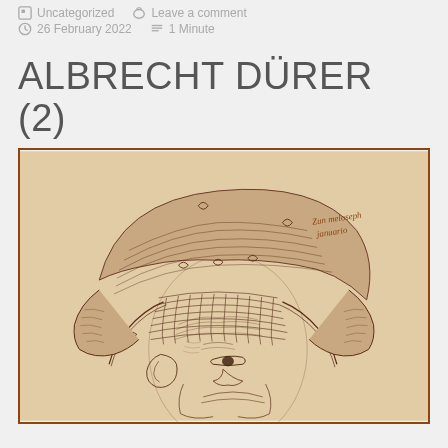Uncategorized   Leave a comment   26 February 2022   1 Minute
ALBRECHT DÜRER (2)
[Figure (illustration): Pen-and-ink drawing by Albrecht Dürer depicting a woman's head wearing an elaborate bonnet or cap with ties, rendered in fine hatching lines on aged paper. Cursive handwritten inscription in brown ink visible in upper right area.]